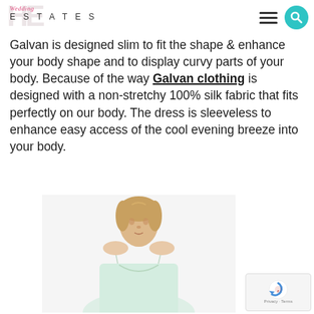Wedding ESTATES
Galvan is designed slim to fit the shape & enhance your body shape and to display curvy parts of your body. Because of the way Galvan clothing is designed with a non-stretchy 100% silk fabric that fits perfectly on our body. The dress is sleeveless to enhance easy access of the cool evening breeze into your body.
[Figure (photo): A female model wearing a light mint/pale green sleeveless silk slip dress with thin spaghetti straps, shown from the waist up, with hair pulled back.]